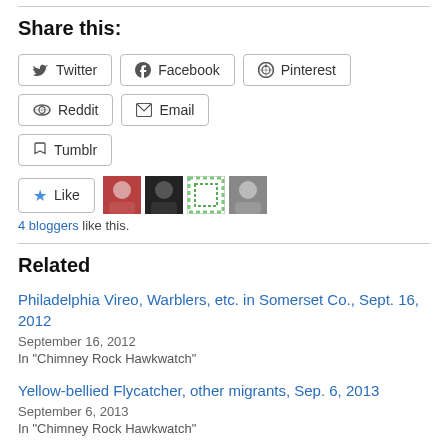Share this:
Twitter
Facebook
Pinterest
Reddit
Email
Tumblr
4 bloggers like this.
Related
Philadelphia Vireo, Warblers, etc. in Somerset Co., Sept. 16, 2012
September 16, 2012
In "Chimney Rock Hawkwatch"
Yellow-bellied Flycatcher, other migrants, Sep. 6, 2013
September 6, 2013
In "Chimney Rock Hawkwatch"